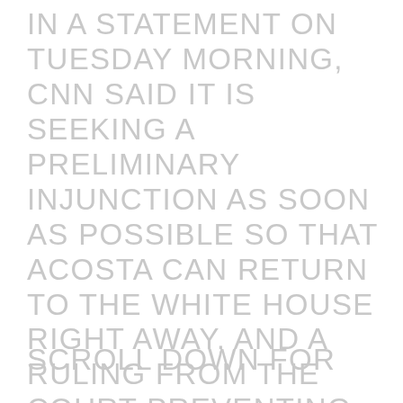IN A STATEMENT ON TUESDAY MORNING, CNN SAID IT IS SEEKING A PRELIMINARY INJUNCTION AS SOON AS POSSIBLE SO THAT ACOSTA CAN RETURN TO THE WHITE HOUSE RIGHT AWAY, AND A RULING FROM THE COURT PREVENTING THE WHITE HOUSE FROM REVOKING ACOSTA'S PASS IN THE FUTURE.
SCROLL DOWN FOR